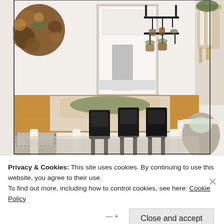[Figure (photo): Farmhouse-style dining room with a long wooden dining table featuring white legs and a wood runner, surrounded by black metal chairs and upholstered chairs. Wall decorations include round wooden plates/bowls, hanging baskets with greenery on an iron rack, and candles on a tall stand. Kitchen visible in the background through a doorway.]
Privacy & Cookies: This site uses cookies. By continuing to use this website, you agree to their use.
To find out more, including how to control cookies, see here: Cookie Policy
Close and accept